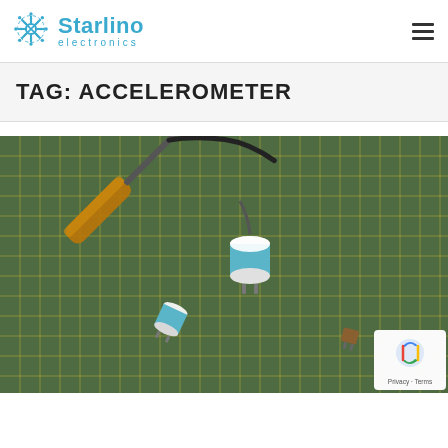[Figure (logo): Starlino Electronics logo with circuit-pattern star/cross icon in blue and text 'Starlino electronics']
TAG: ACCELEROMETER
[Figure (photo): Top-down photo of electronic components (accelerometer sensors/modules) on a green cutting mat with yellow grid lines. A screwdriver or soldering tool is visible in the upper left. Several small cylindrical blue components with white ends are scattered on the mat.]